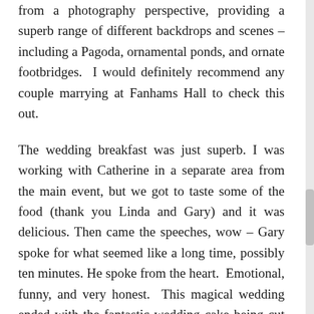from a photography perspective, providing a superb range of different backdrops and scenes – including a Pagoda, ornamental ponds, and ornate footbridges.  I would definitely recommend any couple marrying at Fanhams Hall to check this out.
The wedding breakfast was just superb. I was working with Catherine in a separate area from the main event, but we got to taste some of the food (thank you Linda and Gary) and it was delicious. Then came the speeches, wow – Gary spoke for what seemed like a long time, possibly ten minutes. He spoke from the heart.  Emotional, funny, and very honest.  This magical wedding ended with the fantastic wedding cake being cut and